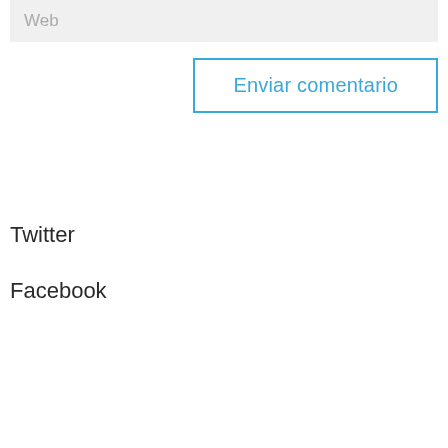Web
Enviar comentario
Twitter
Facebook